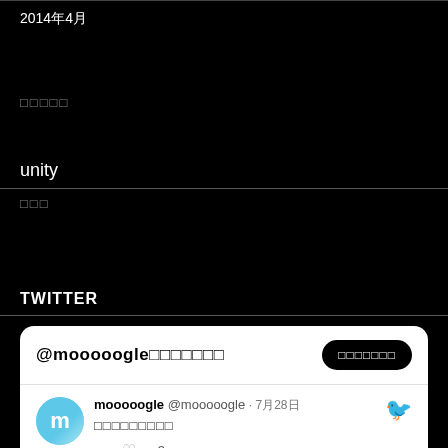2014年4月
□□□□□
unity
□□□
TWITTER
@mooooogle□□□□□□□
□□□□□□
mooooogle @mooooogle · 7月28日
□□□□□□□□□
3